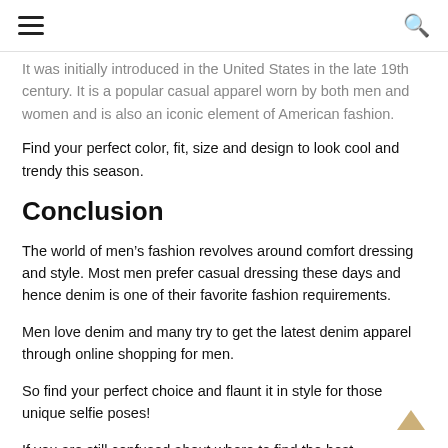[hamburger menu] [search icon]
It was initially introduced in the United States in the late 19th century. It is a popular casual apparel worn by both men and women and is also an iconic element of American fashion.
Find your perfect color, fit, size and design to look cool and trendy this season.
Conclusion
The world of men's fashion revolves around comfort dressing and style. Most men prefer casual dressing these days and hence denim is one of their favorite fashion requirements.
Men love denim and many try to get the latest denim apparel through online shopping for men.
So find your perfect choice and flaunt it in style for those unique selfie poses!
If you are still confused about where to find the best